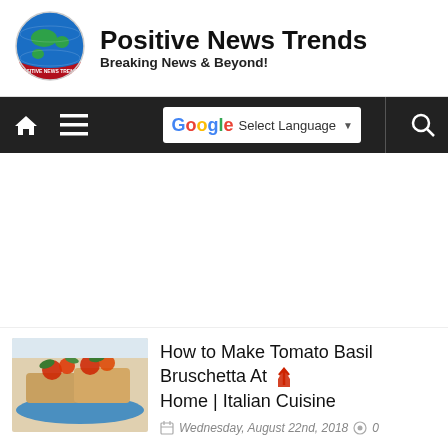Positive News Trends — Breaking News & Beyond!
[Figure (logo): Positive News Trends circular globe logo with text around it]
How to Make Tomato Basil Bruschetta At Home | Italian Cuisine
Wednesday, August 22nd, 2018   0